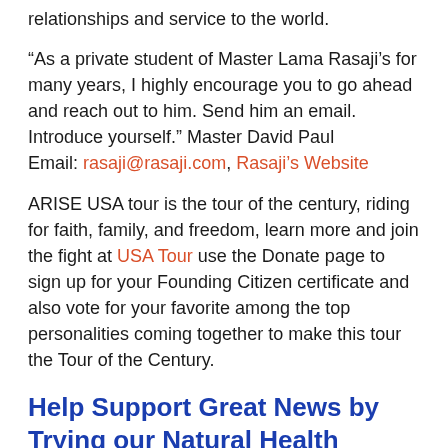relationships and service to the world.
“As a private student of Master Lama Rasaji’s for many years, I highly encourage you to go ahead and reach out to him. Send him an email. Introduce yourself.” Master David Paul Email: rasaji@rasaji.com, Rasaji’s Website
ARISE USA tour is the tour of the century, riding for faith, family, and freedom, learn more and join the fight at USA Tour use the Donate page to sign up for your Founding Citizen certificate and also vote for your favorite among the top personalities coming together to make this tour the Tour of the Century.
Help Support Great News by Trying our Natural Health Products Below